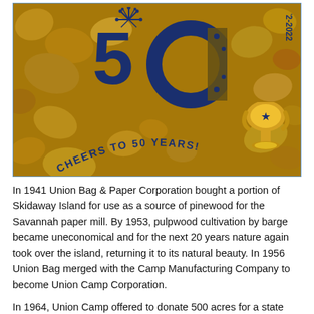[Figure (photo): Photo of gold nuggets with a 50th anniversary logo overlay showing '50' in dark blue, fireworks above the '5', '1972-2022' text vertically on the right, a trophy, and curved text reading 'CHEERS TO 50 YEARS!' at the bottom]
In 1941 Union Bag & Paper Corporation bought a portion of Skidaway Island for use as a source of pinewood for the Savannah paper mill. By 1953, pulpwood cultivation by barge became uneconomical and for the next 20 years nature again took over the island, returning it to its natural beauty. In 1956 Union Bag merged with the Camp Manufacturing Company to become Union Camp Corporation.
In 1964, Union Camp offered to donate 500 acres for a state park if a bridge to the island was built. At the time, no one was willing to build that bridge so nothing came of this offer. Eventually, Chatham County citizens voted to build the 'Bridge to Progress' and in 1968 Union Camp donated 267 acres for the